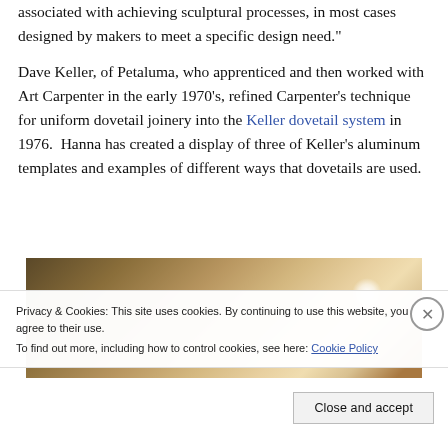associated with achieving sculptural processes, in most cases designed by makers to meet a specific design need."
Dave Keller, of Petaluma, who apprenticed and then worked with Art Carpenter in the early 1970's, refined Carpenter's technique for uniform dovetail joinery into the Keller dovetail system in 1976.  Hanna has created a display of three of Keller's aluminum templates and examples of different ways that dovetails are used.
[Figure (photo): A warm-toned photograph showing wooden boards or surfaces, with a bright circular light reflection visible in the upper right area.]
Privacy & Cookies: This site uses cookies. By continuing to use this website, you agree to their use.
To find out more, including how to control cookies, see here: Cookie Policy